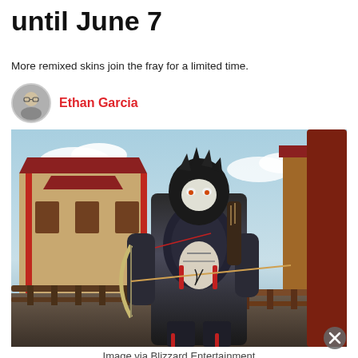until June 7
More remixed skins join the fray for a limited time.
Ethan Garcia
[Figure (photo): Overwatch character in dark samurai armor with a bow, standing in a Japanese-style environment with red buildings and a wooden bridge railing. Character has wolf/beast-like head armor.]
Image via Blizzard Entertainment